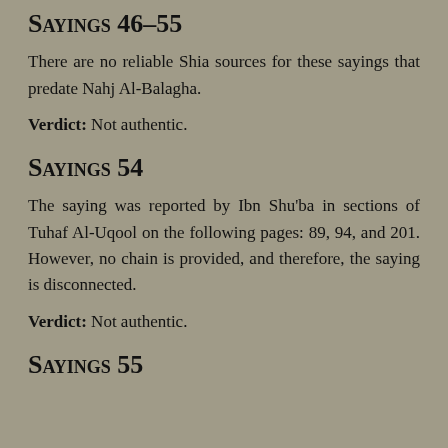Sayings 46–55
There are no reliable Shia sources for these sayings that predate Nahj Al-Balagha.
Verdict: Not authentic.
Sayings 54
The saying was reported by Ibn Shu'ba in sections of Tuhaf Al-Uqool on the following pages: 89, 94, and 201. However, no chain is provided, and therefore, the saying is disconnected.
Verdict: Not authentic.
Sayings 55